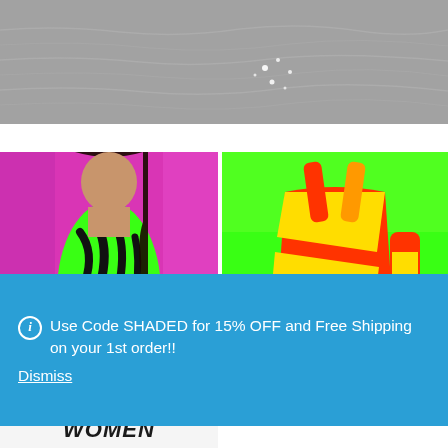[Figure (photo): Gray textured water surface with light reflections/sparkles in the center]
[Figure (photo): Woman wearing green and black tiger-stripe print swimsuit against pink/magenta background]
[Figure (photo): Colorful red, yellow and green striped one-piece swimsuit against bright green background]
Use Code SHADED for 15% OFF and Free Shipping on your 1st order!!
Dismiss
WOMEN